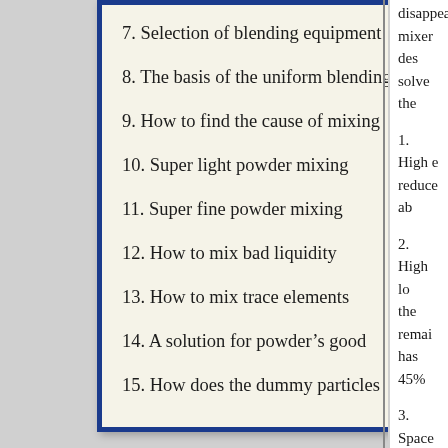7. Selection of blending equipment
8. The basis of the uniform blending
9. How to find the cause of mixing
10. Super light powder mixing
11. Super fine powder mixing
12. How to mix bad liquidity
13. How to mix trace elements
14. A solution for powder's good
15. How does the dummy particles
disappear... mixer des... solve the...
1. High e... reduce ab...
2. High lo... the remai... has 45%...
3. Space s...
4. Energy... mixer's.
5. Small c... less chan...